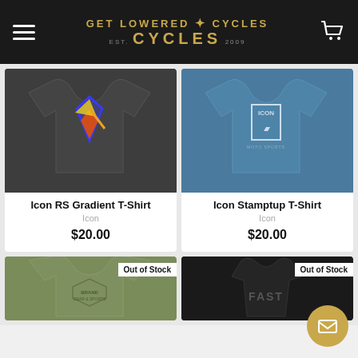Get Lowered Cycles EST. 2009
[Figure (photo): Dark grey t-shirt with colorful RS gradient logo on chest]
Icon RS Gradient T-Shirt
Icon
$20.00
[Figure (photo): Blue t-shirt with Icon Stamptup logo on left chest]
Icon Stamptup T-Shirt
Icon
$20.00
[Figure (photo): Olive green t-shirt, Out of Stock badge]
[Figure (photo): Black racerback tank top with FAST text, Out of Stock badge]